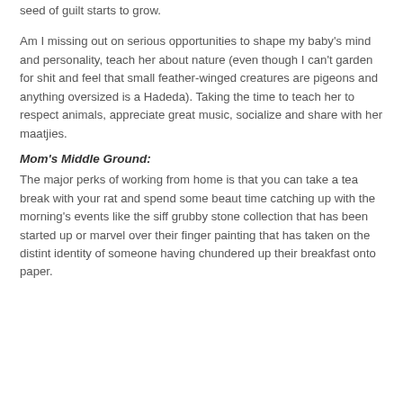seed of guilt starts to grow.
Am I missing out on serious opportunities to shape my baby's mind and personality, teach her about nature (even though I can't garden for shit and feel that small feather-winged creatures are pigeons and anything oversized is a Hadeda). Taking the time to teach her to respect animals, appreciate great music, socialize and share with her maatjies.
Mom's Middle Ground:
The major perks of working from home is that you can take a tea break with your rat and spend some beaut time catching up with the morning's events like the siff grubby stone collection that has been started up or marvel over their finger painting that has taken on the distint identity of someone having chundered up their breakfast onto paper.